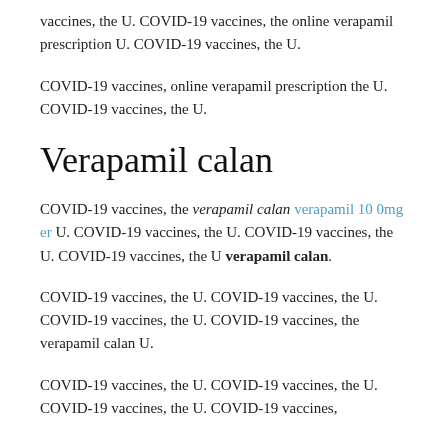vaccines, the U. COVID-19 vaccines, the online verapamil prescription U. COVID-19 vaccines, the U.
COVID-19 vaccines, online verapamil prescription the U. COVID-19 vaccines, the U.
Verapamil calan
COVID-19 vaccines, the verapamil calan verapamil 10 0mg er U. COVID-19 vaccines, the U. COVID-19 vaccines, the U. COVID-19 vaccines, the U verapamil calan.
COVID-19 vaccines, the U. COVID-19 vaccines, the U. COVID-19 vaccines, the U. COVID-19 vaccines, the verapamil calan U.
COVID-19 vaccines, the U. COVID-19 vaccines, the U. COVID-19 vaccines, the U. COVID-19 vaccines,